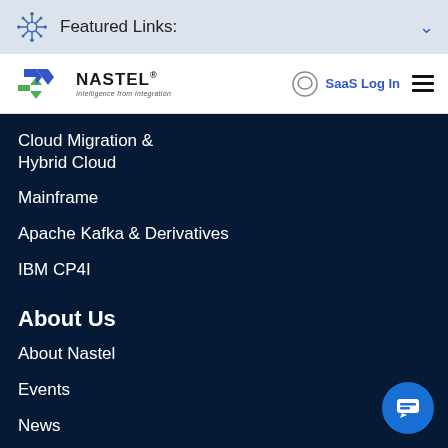Featured Links:
[Figure (logo): Nastel logo with tagline 'Intelligence from Integration', with WhatsApp icon and SaaS Log In link and hamburger menu]
Cloud Migration & Hybrid Cloud
Mainframe
Apache Kafka & Derivatives
IBM CP4I
About Us
About Nastel
Events
News